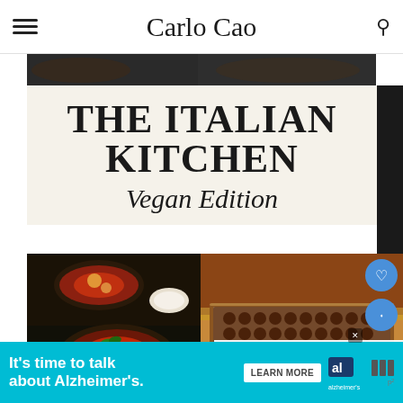Carlo Cao
THE ITALIAN KITCHEN Vegan Edition
[Figure (photo): Two bowls of Italian tomato-based dish with vegan toppings including basil leaves and nutritional yeast, on dark background]
[Figure (photo): Tray of chocolate-dusted vegan tiramisu with round cocoa-dusted balls on top]
WHAT'S NEXT → How To Make The Best...
It's time to talk about Alzheimer's. LEARN MORE